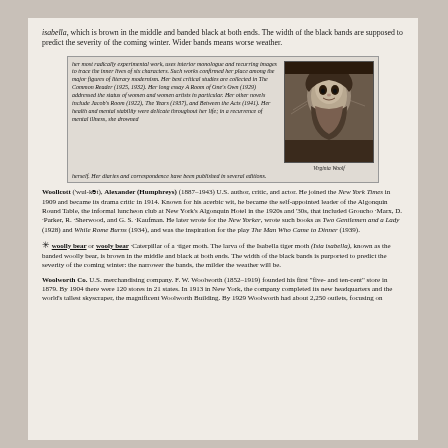isabella, which is brown in the middle and banded black at both ends. The width of the black bands are supposed to predict the severity of the coming winter. Wider bands means worse weather.
[Figure (photo): Encyclopedia page inset with text about Virginia Woolf and a black-and-white portrait photograph of Virginia Woolf, with caption 'Virginia Woolf']
Woollcott (wul-kot), Alexander (Humphreys) (1887–1943) U.S. author, critic, and actor. He joined the New York Times in 1909 and became its drama critic in 1914. Known for his acerbic wit, he became the self-appointed leader of the Algonquin Round Table, the informal luncheon club at New York's Algonquin Hotel in the 1920s and '30s, that included Groucho Marx, D. Parker, R. Sherwood, and G. S. Kaufman. He later wrote for the New Yorker, wrote such books as Two Gentlemen and a Lady (1928) and While Rome Burns (1934), and was the inspiration for the play The Man Who Came to Dinner (1939).
woolly bear or wooly bear -Caterpillar of a tiger moth. The larva of the Isabella tiger moth (Isia isabella), known as the banded woolly bear, is brown in the middle and black at both ends. The width of the black bands is purported to predict the severity of the coming winter: the narrower the bands, the milder the weather will be.
Woolworth Co. U.S. merchandising company. F. W. Woolworth (1852–1919) founded his first "five- and ten-cent" store in 1879. By 1904 there were 120 stores in 21 states. In 1913 in New York, the company completed its new headquarters and the world's tallest skyscraper, the magnificent Woolworth Building. By 1929 Woolworth had about 2,250 outlets, focusing on